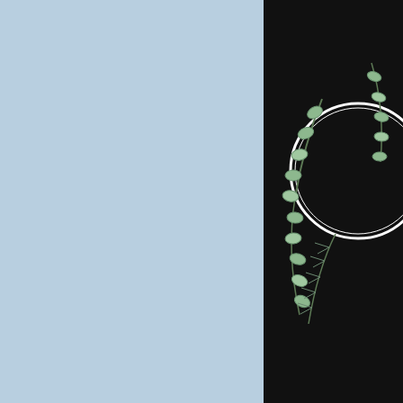FAQ
1969 Flashback
In Memory
Archives
Missing Address
Calendar
Contact Us
Reunion Links
Site Map
[Figure (photo): Dark background with white circular frame surrounded by green eucalyptus and pine leaf botanical decorations]